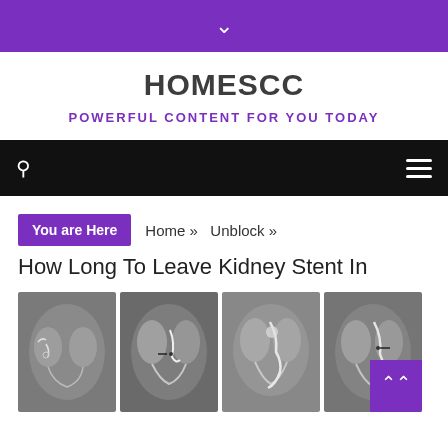▼
HOMESCC
POWERFUL CONTENT FOR YOU TODAY
🔍  ☰
You are Here  Home »  Unblock »
How Long To Leave Kidney Stent In
[Figure (photo): Four grayscale X-ray images showing kidney stents in the urinary tract]